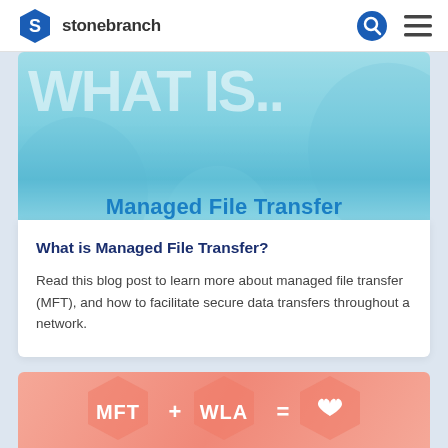stonebranch
[Figure (illustration): Banner image with light blue/teal gradient background showing large faded text 'WHAT IS..' and bold teal text 'Managed File Transfer' centered at the bottom]
What is Managed File Transfer?
Read this blog post to learn more about managed file transfer (MFT), and how to facilitate secure data transfers throughout a network.
[Figure (illustration): Salmon/coral colored banner with hexagonal shapes containing text 'MFT + WLA = [heart icon]']